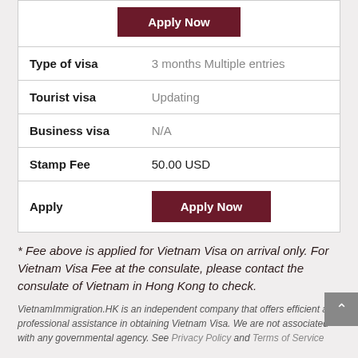|  |  |
| --- | --- |
| Type of visa | 3 months Multiple entries |
| Tourist visa | Updating |
| Business visa | N/A |
| Stamp Fee | 50.00 USD |
| Apply | Apply Now |
* Fee above is applied for Vietnam Visa on arrival only. For Vietnam Visa Fee at the consulate, please contact the consulate of Vietnam in Hong Kong to check.
VietnamImmigration.HK is an independent company that offers efficient and professional assistance in obtaining Vietnam Visa. We are not associated with any governmental agency. See Privacy Policy and Terms of Service